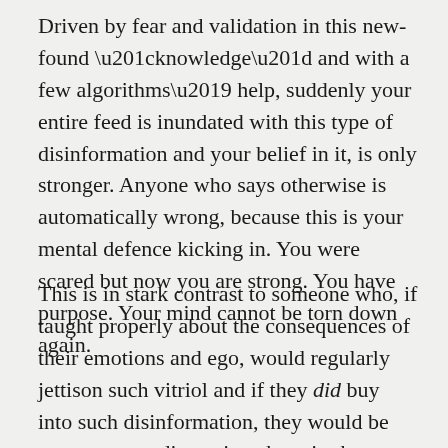Driven by fear and validation in this new-found “knowledge” and with a few algorithms’ help, suddenly your entire feed is inundated with this type of disinformation and your belief in it, is only stronger. Anyone who says otherwise is automatically wrong, because this is your mental defence kicking in. You were scared but now you are strong. You have purpose. Your mind cannot be torn down again.
This is in stark contrast to someone who, if taught properly about the consequences of their emotions and ego, would regularly jettison such vitriol and if they did buy into such disinformation, they would be more open to discussion about it, then automatically assuming everyone was wrong from the get-go.